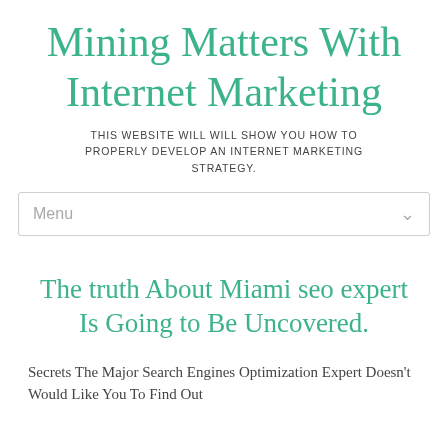Mining Matters With Internet Marketing
THIS WEBSITE WILL WILL SHOW YOU HOW TO PROPERLY DEVELOP AN INTERNET MARKETING STRATEGY.
The truth About Miami seo expert Is Going to Be Uncovered.
Secrets The Major Search Engines Optimization Expert Doesn't Would Like You To Find Out